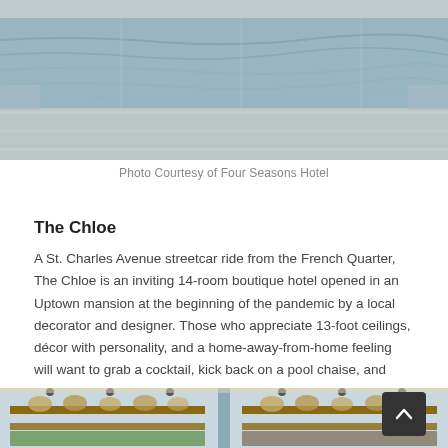[Figure (photo): Aerial view of a pool with reflections, light-colored deck surround — Four Seasons Hotel pool photo]
Photo Courtesy of Four Seasons Hotel
The Chloe
A St. Charles Avenue streetcar ride from the French Quarter, The Chloe is an inviting 14-room boutique hotel opened in an Uptown mansion at the beginning of the pandemic by a local decorator and designer. Those who appreciate 13-foot ceilings, décor with personality, and a home-away-from-home feeling will want to grab a cocktail, kick back on a pool chaise, and never leave.
[Figure (photo): Interior bar or shop area with wooden shelving, hats and bottles, light blue exterior walls visible — The Chloe hotel interior photo]